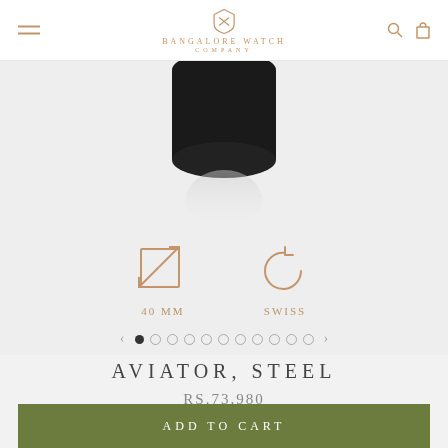Bangalore Watch Company
[Figure (photo): Product photo of Aviator Steel watch, partially visible at top, on light grey background]
[Figure (infographic): Two icons: a square with diagonal arrow (resize icon) labeled '40 MM', and a circular arrow (Swiss made icon) labeled 'SWISS']
[Figure (other): Carousel navigation with left arrow, 11 dots (first filled/active), and right arrow]
AVIATOR, STEEL
RS.73,980
ADD TO CART